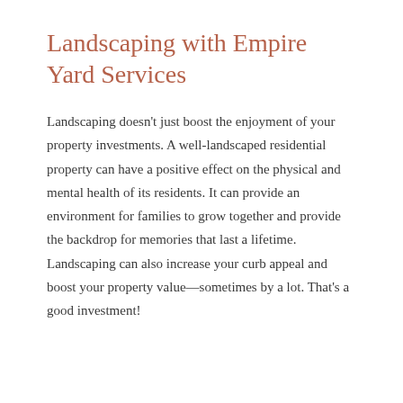Landscaping with Empire Yard Services
Landscaping doesn't just boost the enjoyment of your property investments. A well-landscaped residential property can have a positive effect on the physical and mental health of its residents. It can provide an environment for families to grow together and provide the backdrop for memories that last a lifetime. Landscaping can also increase your curb appeal and boost your property value—sometimes by a lot. That's a good investment!